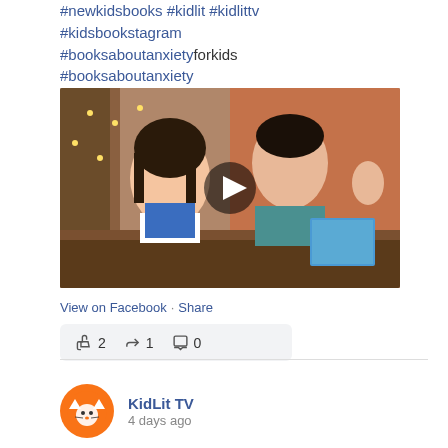#newkidsbooks #kidlit #kidlittv #kidsbookstagram #booksaboutanxietyforkids #booksaboutanxiety
[Figure (photo): Video thumbnail showing a woman in a blue dress and a man in a teal shirt seated at a table in front of a brick wall with string lights, with a play button overlay]
View on Facebook · Share
👍 2  ↪ 1  💬 0
KidLit TV
4 days ago